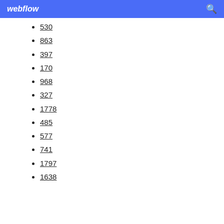webflow
530
863
397
170
968
327
1778
485
577
741
1797
1638